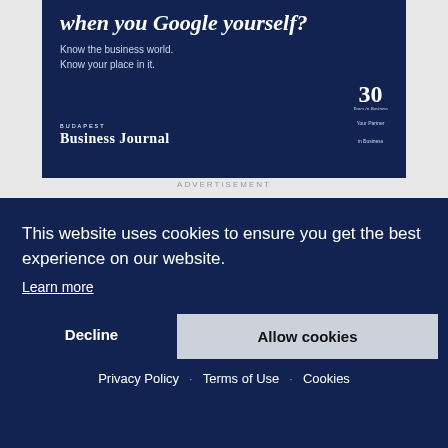[Figure (illustration): Budapest Business Journal advertisement on dark navy background. Text reads 'when you Google yourself? Know the business world. Know your place in it.' with Budapest Business Journal logo and 30 years anniversary badge.]
ADVERTISEMENT
This website uses cookies to ensure you get the best experience on our website.
Learn more
Decline
Allow cookies
Privacy Policy  Terms of Use  Cookies